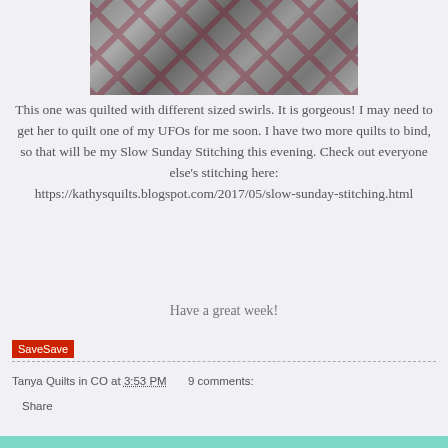[Figure (photo): Partially visible quilt with pinwheel pattern in black, white/grey, and dark red/maroon colors]
This one was quilted with different sized swirls. It is gorgeous! I may need to get her to quilt one of my UFOs for me soon. I have two more quilts to bind, so that will be my Slow Sunday Stitching this evening. Check out everyone else's stitching here: https://kathysquilts.blogspot.com/2017/05/slow-sunday-stitching.html
Have a great week!
SaveSave
Tanya Quilts in CO at 3:53 PM  9 comments:
Share